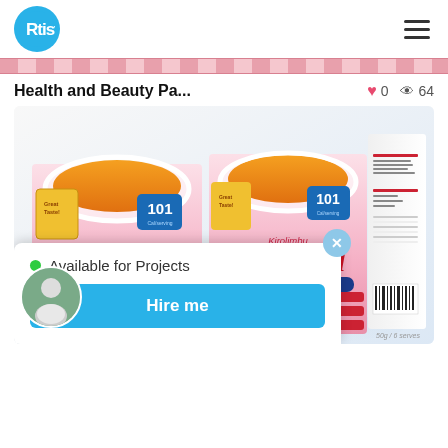Rtist logo and hamburger menu
Health and Beauty Pa...
0  64
[Figure (photo): Product packaging photo showing two Kirolimbu Diet Meal Hot and Spicy boxes and one larger box, displayed on a light blue-white gradient background]
Available for Projects
Hire me